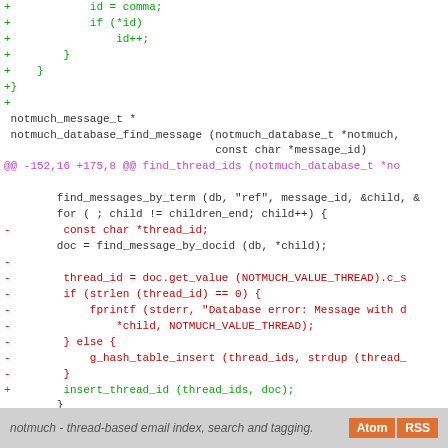[Figure (screenshot): Code diff view showing C source code with added lines (green), deleted lines (red), context lines (dark), and a hunk header (purple). Shows changes to notmuch_database_find_message function and find_thread_ids.]
notmuch - thread-based email index, search and tagging.